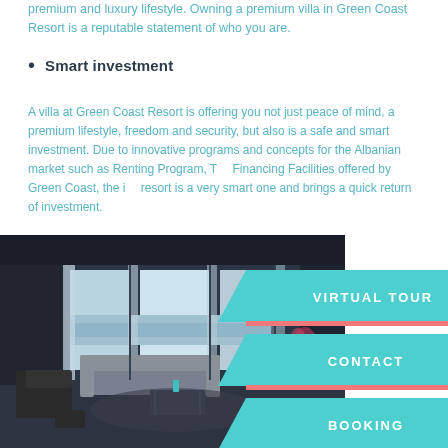premium and luxury lifestyle. Owning a premium villa in Green Coast Resort is a reputable statement of who you are.
Smart investment
A villa at Green Coast Resort is offering you not just peace of mind, a premium lifestyle, freedom and security, but also is a safe and smart investment. Due to innovative programs and concepts for the Albanian market such as Renting Program, T… Financing Facilities offered by Green Coast, the i… resort is a very smart one and brings a quick return of investment.
[Figure (infographic): Navigation buttons with chevron shapes: VIRTUAL TOUR, CONTACT, BOOKING in teal/turquoise color with coral accent lines]
[Figure (photo): Interior photo of a modern luxury villa living room with floor-to-ceiling windows overlooking the sea, contemporary furniture including sofas, armchair, coffee table, and decorative plants]